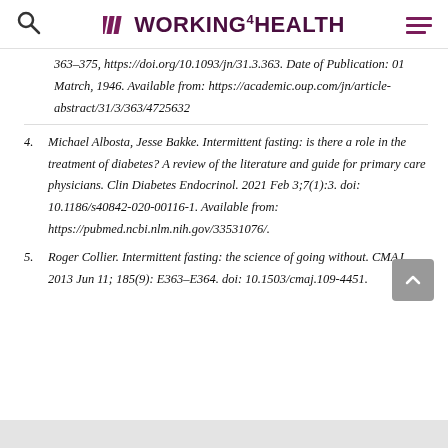WORKING4HEALTH
363–375, https://doi.org/10.1093/jn/31.3.363. Date of Publication: 01 Matrch, 1946. Available from: https://academic.oup.com/jn/article-abstract/31/3/363/4725632
4. Michael Albosta, Jesse Bakke. Intermittent fasting: is there a role in the treatment of diabetes? A review of the literature and guide for primary care physicians. Clin Diabetes Endocrinol. 2021 Feb 3;7(1):3. doi: 10.1186/s40842-020-00116-1. Available from: https://pubmed.ncbi.nlm.nih.gov/33531076/.
5. Roger Collier. Intermittent fasting: the science of going without. CMAJ. 2013 Jun 11; 185(9): E363–E364. doi: 10.1503/cmaj.109-4451.